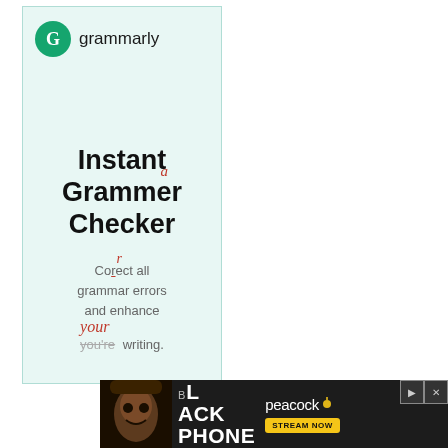[Figure (logo): Grammarly logo: green circle with white G letter followed by text 'grammarly']
Instant Grammer Checker
Corect all grammar errors and enhance your writing.
[Figure (screenshot): Bottom advertisement banner for 'The Black Phone' on Peacock streaming service with dark background, movie poster image on left, title text in center, and Peacock logo with STREAM NOW button on right.]